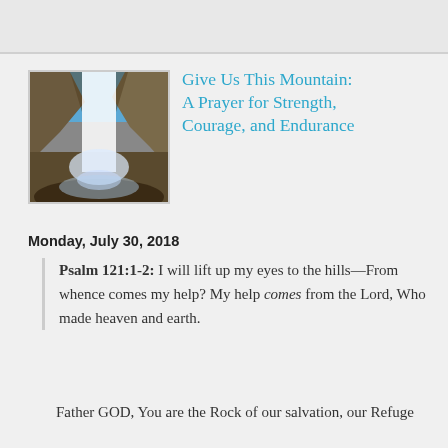[Figure (photo): Waterfall flowing down a rocky cliff face with blue sky, viewed from below]
Give Us This Mountain: A Prayer for Strength, Courage, and Endurance
Monday, July 30, 2018
Psalm 121:1-2: I will lift up my eyes to the hills—From whence comes my help? My help comes from the Lord, Who made heaven and earth.
Father GOD, You are the Rock of our salvation, our Refuge